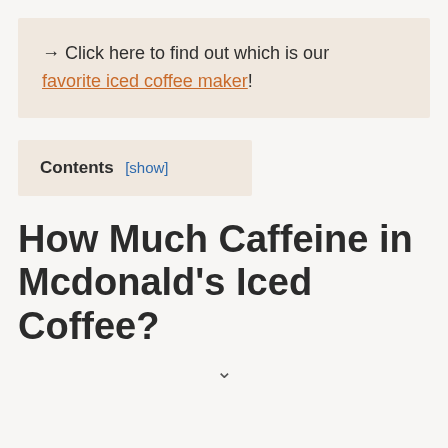→ Click here to find out which is our favorite iced coffee maker!
Contents [show]
How Much Caffeine in Mcdonald's Iced Coffee?